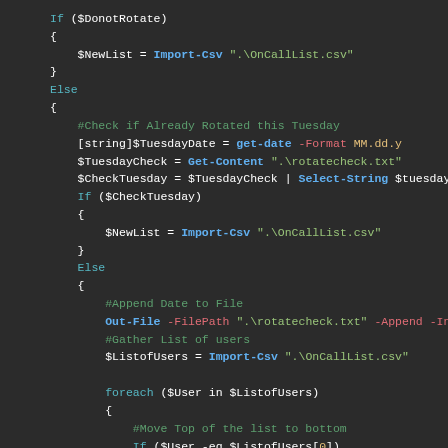[Figure (screenshot): PowerShell code snippet on dark background showing conditional logic for rotating an on-call list, with syntax highlighting in blue, orange, red, green, and white.]